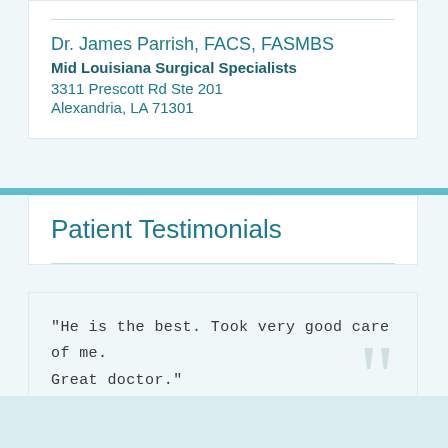Dr. James Parrish, FACS, FASMBS
Mid Louisiana Surgical Specialists
3311 Prescott Rd Ste 201
Alexandria, LA 71301
Patient Testimonials
"He is the best. Took very good care of me. Great doctor."